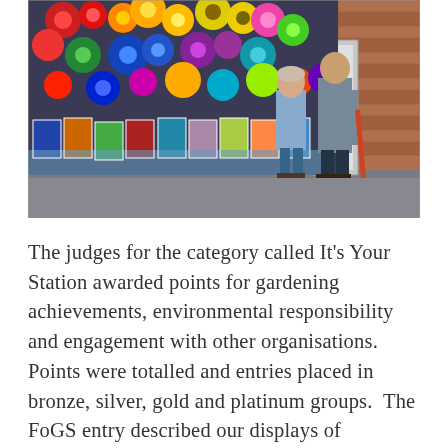[Figure (photo): Two people standing in front of a wall covered with colourful paper/plastic flower decorations and children's artwork at a railway station. One person holds a broom. The flowers are vibrant rainbow colours — red, orange, yellow, green, blue, purple.]
The judges for the category called It's Your Station awarded points for gardening achievements, environmental responsibility and engagement with other organisations. Points were totalled and entries placed in bronze, silver, gold and platinum groups.  The FoGS entry described our displays of flowering plants and the efforts to improve